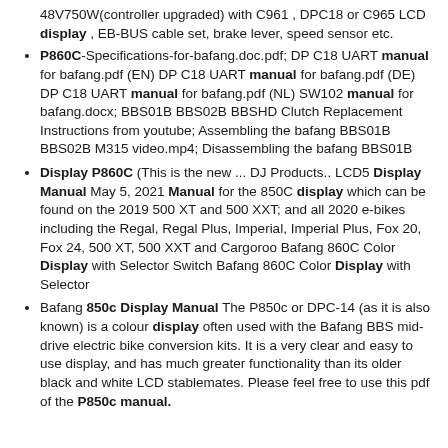48V750W(controller upgraded) with C961 , DPC18 or C965 LCD display , EB-BUS cable set, brake lever, speed sensor etc.
P860C-Specifications-for-bafang.doc.pdf; DP C18 UART manual for bafang.pdf (EN) DP C18 UART manual for bafang.pdf (DE) DP C18 UART manual for bafang.pdf (NL) SW102 manual for bafang.docx; BBS01B BBS02B BBSHD Clutch Replacement Instructions from youtube; Assembling the bafang BBS01B BBS02B M315 video.mp4; Disassembling the bafang BBS01B
Display P860C (This is the new ... DJ Products.. LCD5 Display Manual May 5, 2021 Manual for the 850C display which can be found on the 2019 500 XT and 500 XXT; and all 2020 e-bikes including the Regal, Regal Plus, Imperial, Imperial Plus, Fox 20, Fox 24, 500 XT, 500 XXT and Cargoroo Bafang 860C Color Display with Selector Switch Bafang 860C Color Display with Selector
Bafang 850c Display Manual The P850c or DPC-14 (as it is also known) is a colour display often used with the Bafang BBS mid-drive electric bike conversion kits. It is a very clear and easy to use display, and has much greater functionality than its older black and white LCD stablemates. Please feel free to use this pdf of the P850c manual.